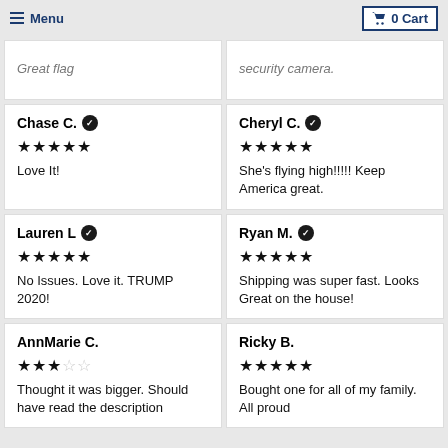Menu | 0 Cart
Great flag
security camera.
Chase C. ✓
★★★★★
Love It!
Cheryl C. ✓
★★★★★
She's flying high!!!!! Keep America great.
Lauren L ✓
★★★★★
No Issues. Love it. TRUMP 2020!
Ryan M. ✓
★★★★★
Shipping was super fast. Looks Great on the house!
AnnMarie C.
★★★☆☆
Thought it was bigger. Should have read the description
Ricky B.
★★★★★
Bought one for all of my family. All proud